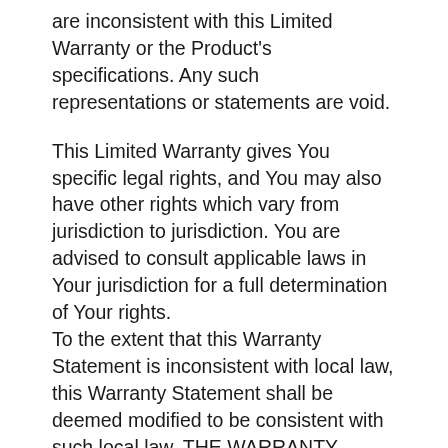are inconsistent with this Limited Warranty or the Product's specifications. Any such representations or statements are void.
This Limited Warranty gives You specific legal rights, and You may also have other rights which vary from jurisdiction to jurisdiction. You are advised to consult applicable laws in Your jurisdiction for a full determination of Your rights.
To the extent that this Warranty Statement is inconsistent with local law, this Warranty Statement shall be deemed modified to be consistent with such local law. THE WARRANTY TERMS CONTAINED IN THIS LIMITED WARRANTY, EXCEPT TO THE EXTENT LAWFULLY PERMITTED, DO NOT EXCLUDE, RESTRICT OR MODIFY AND ARE IN ADDITION TO THE MANDATORY STATUTORY